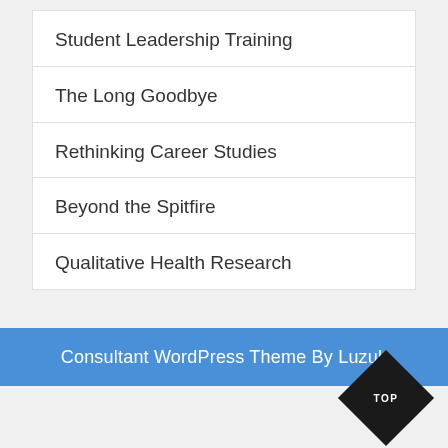Student Leadership Training
The Long Goodbye
Rethinking Career Studies
Beyond the Spitfire
Qualitative Health Research
Consultant WordPress Theme By Luzuk